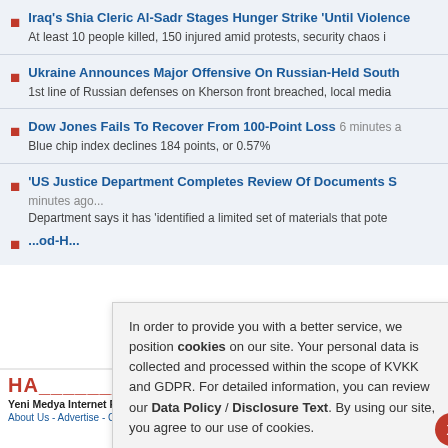Iraq's Shia Cleric Al-Sadr Stages Hunger Strike 'Until Violence... At least 10 people killed, 150 injured amid protests, security chaos i...
Ukraine Announces Major Offensive On Russian-Held South... 1st line of Russian defenses on Kherson front breached, local media...
Dow Jones Fails To Recover From 100-Point Loss 6 minutes a... Blue chip index declines 184 points, or 0.57%
'US Justice Department Completes Review Of Documents S... minutes ago... Department says it has 'identified a limited set of materials that pote...
...od-H... Tues...
In order to provide you with a better service, we position cookies on our site. Your personal data is collected and processed within the scope of KVKK and GDPR. For detailed information, you can review our Data Policy / Disclosure Text. By using our site, you agree to our use of cookies.
HA... Yeni Medya Internet Publishing About Us - Advertise - Contact - Home Page The law number 5846 on Intellectual... under the policies of the related...